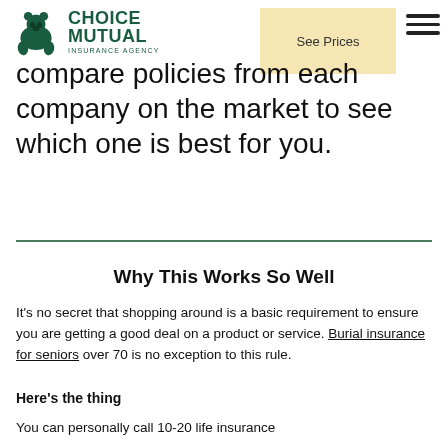Choice Mutual Insurance Agency | See Prices
compare policies from each company on the market to see which one is best for you.
Why This Works So Well
It's no secret that shopping around is a basic requirement to ensure you are getting a good deal on a product or service. Burial insurance for seniors over 70 is no exception to this rule.
Here’s the thing
You can personally call 10-20 life insurance